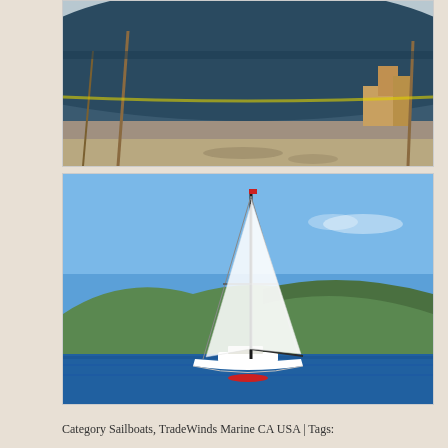[Figure (photo): Large boat hull out of water in a shipyard, showing dark blue/green hull bottom propped up on supports with a sandy/rocky ground below]
[Figure (photo): White sailboat with tall mast anchored in blue water with hilly green coastline in background under clear blue sky]
Category Sailboats, TradeWinds Marine CA USA | Tags: